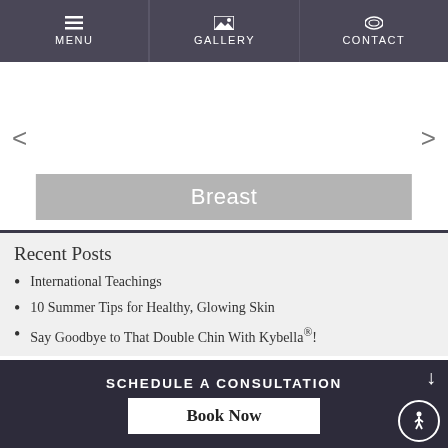MENU | GALLERY | CONTACT
[Figure (screenshot): Image slider area with left and right navigation arrows and a gray 'Breast' label overlay at the bottom]
Recent Posts
International Teachings
10 Summer Tips for Healthy, Glowing Skin
Say Goodbye to That Double Chin With Kybella®!
SCHEDULE A CONSULTATION | Book Now